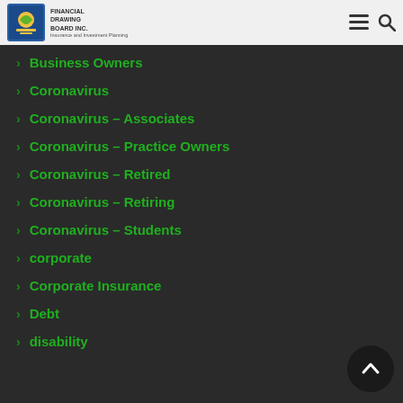Financial Drawing Board Inc. — Insurance and Investment Planning
Business Owners
Coronavirus
Coronavirus – Associates
Coronavirus – Practice Owners
Coronavirus – Retired
Coronavirus – Retiring
Coronavirus – Students
corporate
Corporate Insurance
Debt
disability